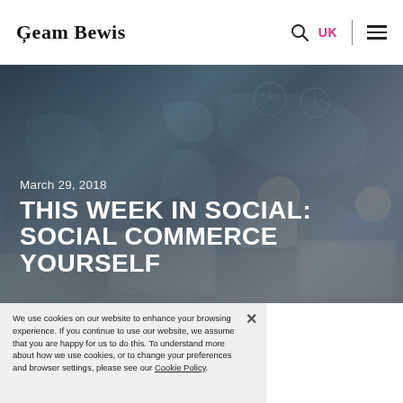Geam Bewis — UK
[Figure (photo): Group of young people working with laptops and tablets at a wooden table, with a world map on the wall behind them. March 29, 2018 date and article title overlaid on the image.]
March 29, 2018 — THIS WEEK IN SOCIAL: SOCIAL COMMERCE YOURSELF
We use cookies on our website to enhance your browsing experience. If you continue to use our website, we assume that you are happy for us to do this. To understand more about how we use cookies, or to change your preferences and browser settings, please see our Cookie Policy.